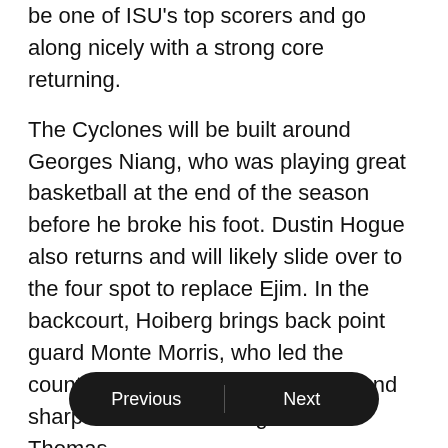be one of ISU's top scorers and go along nicely with a strong core returning.
The Cyclones will be built around Georges Niang, who was playing great basketball at the end of the season before he broke his foot. Dustin Hogue also returns and will likely slide over to the four spot to replace Ejim. In the backcourt, Hoiberg brings back point guard Monte Morris, who led the country in assist-to-turnover ratio, and sharpshooters Naz Long and Matt Thomas.
Greatest Asset: Niang.
The versatile big man is a matchup nightmare with the ability to score from the post, shoot from the perimeter and also initiate the offense as a point forward. Hoiberg loves to spread nd Niang and let him create.